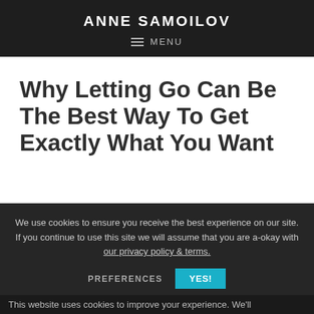ANNE SAMOILOV
MENU
Why Letting Go Can Be The Best Way To Get Exactly What You Want
We use cookies to ensure you receive the best experience on our site. If you continue to use this site we will assume that you are a-okay with our privacy policy & terms.
PREFERENCES  YES!
This website uses cookies to improve your experience. We'll